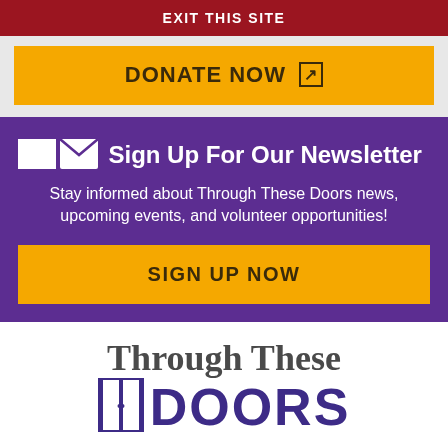EXIT THIS SITE
DONATE NOW ↗
✉ Sign Up For Our Newsletter
Stay informed about Through These Doors news, upcoming events, and volunteer opportunities!
SIGN UP NOW
Through These DOORS